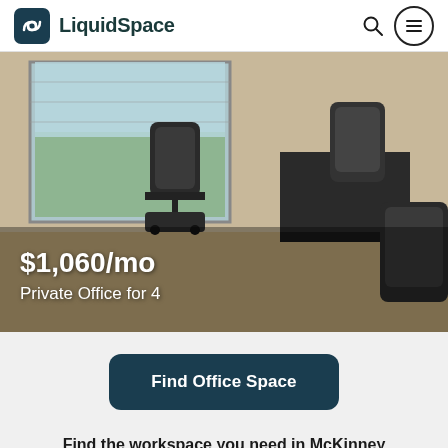[Figure (logo): LiquidSpace logo: dark teal rounded square icon with a stylized chain-link or loop symbol, followed by bold dark teal text 'LiquidSpace']
[Figure (photo): Interior photo of a private office space showing multiple black mesh office chairs and dark desks, with large windows showing a parking lot and trees outside. Photo has a semi-transparent dark overlay at the bottom showing price and space type.]
$1,060/mo
Private Office for 4
Find Office Space
Find the workspace you need in McKinney